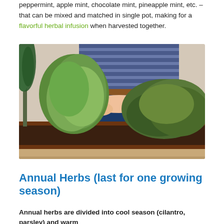peppermint, apple mint, chocolate mint, pineapple mint, etc. – that can be mixed and matched in single pot, making for a flavorful herbal infusion when harvested together.
[Figure (photo): Person planting herbs in a rectangular terracotta planter box. Visible herbs include rosemary, sage (large green leaves), and thyme (smaller bushy plant). Person wearing striped shirt and jeans.]
Annual Herbs (last for one growing season)
Annual herbs are divided into cool season (cilantro, parsley) and warm